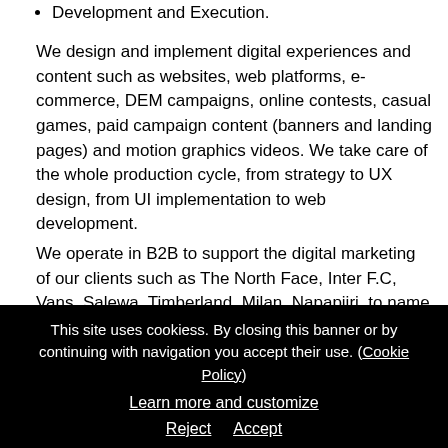Development and Execution.
We design and implement digital experiences and content such as websites, web platforms, e-commerce, DEM campaigns, online contests, casual games, paid campaign content (banners and landing pages) and motion graphics videos. We take care of the whole production cycle, from strategy to UX design, from UI implementation to web development.
We operate in B2B to support the digital marketing of our clients such as The North Face, Inter F.C, Vans, Salewa, Timberland, Milan, Napapijri, to name a few. In the past two years, we have entered three
This site uses cookiess. By closing this banner or by continuing with navigation you accept their use. (Cookie Policy)
Learn more and customize
Reject
Accept